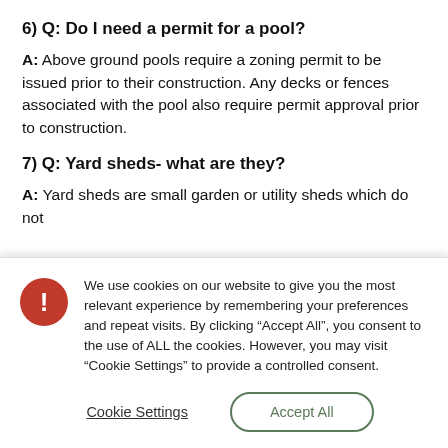6) Q: Do I need a permit for a pool?
A: Above ground pools require a zoning permit to be issued prior to their construction. Any decks or fences associated with the pool also require permit approval prior to construction.
7) Q: Yard sheds- what are they?
A: Yard sheds are small garden or utility sheds which do not
We use cookies on our website to give you the most relevant experience by remembering your preferences and repeat visits. By clicking “Accept All”, you consent to the use of ALL the cookies. However, you may visit “Cookie Settings” to provide a controlled consent.
Cookie Settings
Accept All